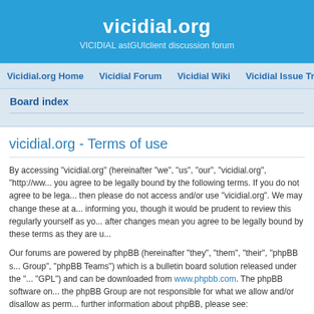vicidial.org
VICIDIAL astGUIclient discussion forum
Vicidial.org Home   Vicidial Forum   Vicidial Wiki   Vicidial Issue Tracker
Board index
vicidial.org - Terms of use
By accessing “vicidial.org” (hereinafter “we”, “us”, “our”, “vicidial.org”, “http://www...”) you agree to be legally bound by the following terms. If you do not agree to be legally bound by all of the following terms then please do not access and/or use “vicidial.org”. We may change these at any time and we’ll do our utmost in informing you, though it would be prudent to review this regularly yourself as your continued usage of “vicidial.org” after changes mean you agree to be legally bound by these terms as they are updated and/or amended.
Our forums are powered by phpBB (hereinafter “they”, “them”, “their”, “phpBB software”, “www.phpbb.com”, “phpBB Group”, “phpBB Teams”) which is a bulletin board solution released under the “GNU General Public License v2” (hereinafter “GPL”) and can be downloaded from www.phpbb.com. The phpBB software only facilitates internet based discussions; phpBB Group are not responsible for what we allow and/or disallow as permissible content and/or conduct. For further information about phpBB, please see: https://www.phpbb.com/.